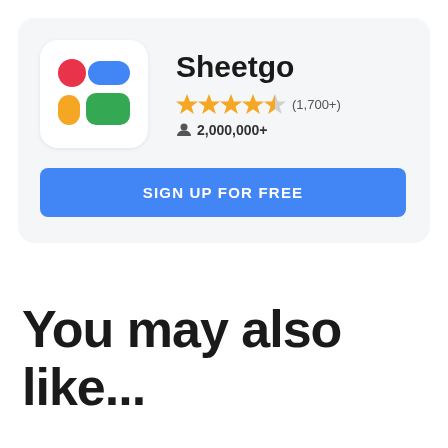[Figure (screenshot): Sheetgo app card with logo, star rating (1,700+ reviews), 2,000,000+ users, and a blue SIGN UP FOR FREE button]
You may also like...